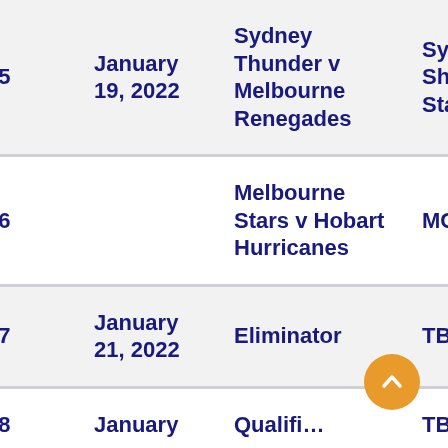| # | Date | Match | Venue | Time |
| --- | --- | --- | --- | --- |
| 55 | January 19, 2022 | Sydney Thunder v Melbourne Renegades | Sydney Showground Stadium | 4:4… |
| 56 |  | Melbourne Stars v Hobart Hurricanes | MCG | 7:5… |
| 57 | January 21, 2022 | Eliminator | TBA | TBA |
| 58 | January … | Qualifi… | TBA | TBA |